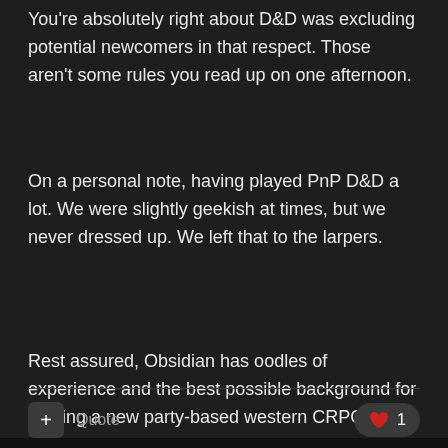You're absolutely right about D&D was excluding potential newcomers in that respect. Those aren't some rules you read up on one afternoon.
On a personal note, having played PnP D&D a lot. We were slightly geekish at times, but we never dressed up. We left that to the larpers.
Rest assured, Obsidian has oodles of experience and the best possible background for making a new party-based western CRPG.